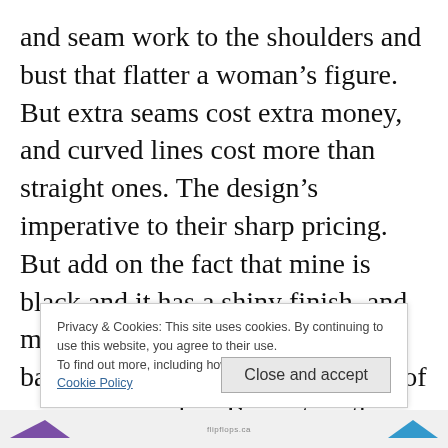and seam work to the shoulders and bust that flatter a woman’s figure. But extra seams cost extra money, and curved lines cost more than straight ones. The design’s imperative to their sharp pricing. But add on the fact that mine is black and it has a shiny finish, and my jacket looks a little like a trash bag. At least the looks are the last of my concern when I’m out on the mountain.
Privacy & Cookies: This site uses cookies. By continuing to use this website, you agree to their use.
To find out more, including how to control cookies, see here:
Cookie Policy